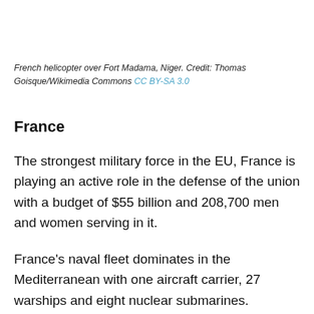French helicopter over Fort Madama, Niger. Credit: Thomas Goisque/Wikimedia Commons CC BY-SA 3.0
France
The strongest military force in the EU, France is playing an active role in the defense of the union with a budget of $55 billion and 208,700 men and women serving in it.
France's naval fleet dominates in the Mediterranean with one aircraft carrier, 27 warships and eight nuclear submarines.